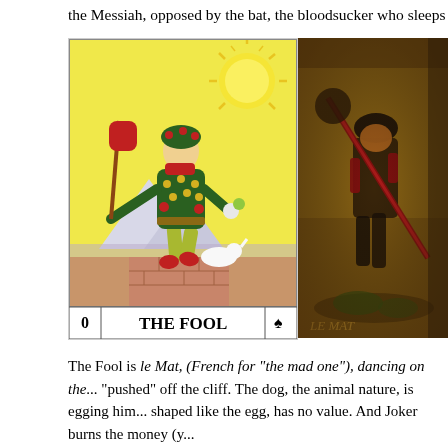the Messiah, opposed by the bat, the bloodsucker who sleeps up
[Figure (photo): Left: The Fool tarot card (Rider-Waite deck), numbered 0, showing a young man in colorful floral tunic with a staff over his shoulder, a bag, and a small white dog, about to step off a cliff, with a sun in the sky. Label at bottom reads '0   THE FOOL   S'. Right: A partially visible older tarot card (Le Mat) showing a figure walking with a staff, in darker sepia/brown tones.]
The Fool is le Mat, (French for "the mad one"), dancing on the... "pushed" off the cliff. The dog, the animal nature, is egging him... shaped like the egg, has no value. And Joker burns the money (y...